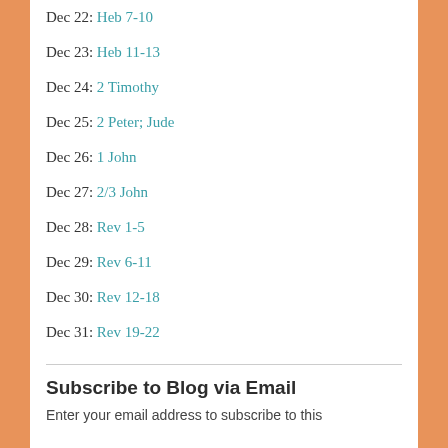Dec 22: Heb 7-10
Dec 23: Heb 11-13
Dec 24: 2 Timothy
Dec 25: 2 Peter; Jude
Dec 26: 1 John
Dec 27: 2/3 John
Dec 28: Rev 1-5
Dec 29: Rev 6-11
Dec 30: Rev 12-18
Dec 31: Rev 19-22
Subscribe to Blog via Email
Enter your email address to subscribe to this